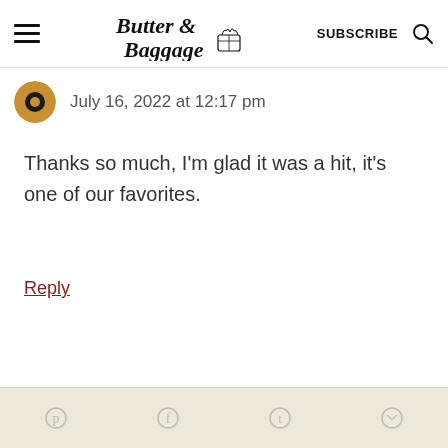Butter & Baggage — SUBSCRIBE
July 16, 2022 at 12:17 pm
Thanks so much, I'm glad it was a hit, it's one of our favorites.
Reply
Social share icons: Pinterest, Facebook, Twitter, Email